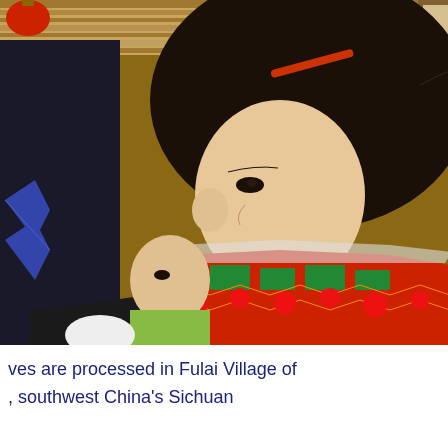[Figure (photo): A young girl wearing traditional Chinese ethnic (Yi minority) clothing with colorful red, green, and orange embroidered patterns on a black garment, with a red hair clip, dark hair in a ponytail. She appears to be indoors with wooden ceiling visible. A younger child is partially visible behind her.]
ves are processed in Fulai Village of , southwest China's Sichuan